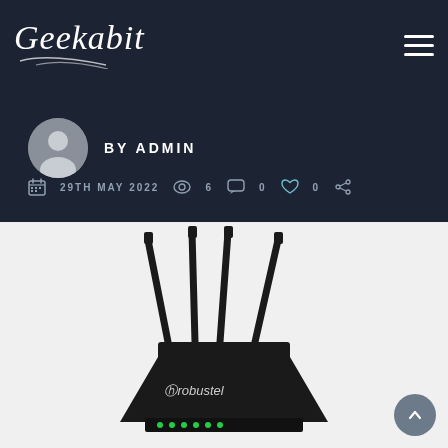Geekabit
BY ADMIN
29TH MAY 2022  6  0  0
[Figure (photo): Black Robustel brand router with four external antennas, viewed from the front at a slight angle, on a light gray background.]